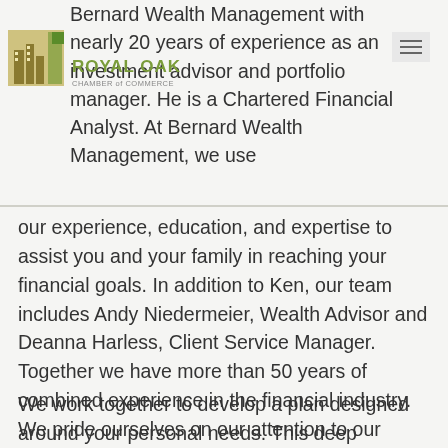Bernard Wealth Management with nearly 20 years of experience as an investment advisor and portfolio manager. He is a Chartered Financial Analyst. At Bernard Wealth Management, we use
[Figure (logo): Royal Oak Chamber of Commerce logo with building/tree graphic in green and tan colors]
our experience, education, and expertise to assist you and your family in reaching your financial goals. In addition to Ken, our team includes Andy Niedermeier, Wealth Advisor and Deanna Harless, Client Service Manager. Together we have more than 50 years of combined experience in the financial industry. We pride ourselves on our attention to our clients' financial issues. Coupled with our ongoing research and rigorous portfolio management, we strive to help our clients meet their long-term goals.
We work together to develop a plan designed around your personal needs. This deep understanding of your financial picture is